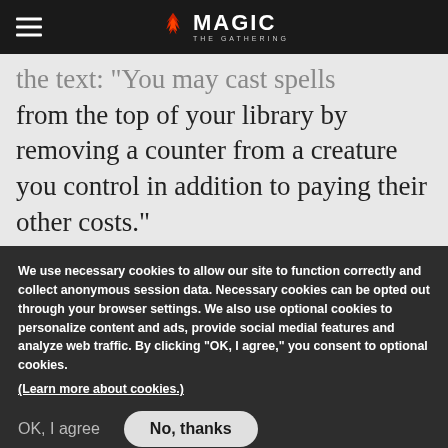Magic: The Gathering
the text: "You may cast spells from the top of your library by removing a counter from a creature you control in addition to paying their other costs."
You can add these golden age card styles to your collection for playing:
[Figure (screenshot): Partially visible Magic: The Gathering card with gold border]
We use necessary cookies to allow our site to function correctly and collect anonymous session data. Necessary cookies can be opted out through your browser settings. We also use optional cookies to personalize content and ads, provide social medial features and analyze web traffic. By clicking "OK, I agree," you consent to optional cookies.
(Learn more about cookies.)